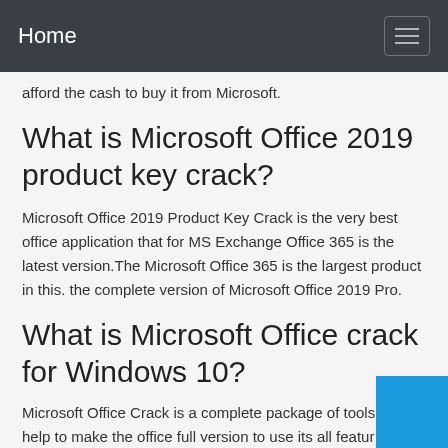Home
afford the cash to buy it from Microsoft.
What is Microsoft Office 2019 product key crack?
Microsoft Office 2019 Product Key Crack is the very best office application that for MS Exchange Office 365 is the latest version.The Microsoft Office 365 is the largest product in this. the complete version of Microsoft Office 2019 Pro.
What is Microsoft Office crack for Windows 10?
Microsoft Office Crack is a complete package of tools that help to make the office full version to use its all features easily and freely. This tool will help you to do offline of software by Microsoft and join a version of some online